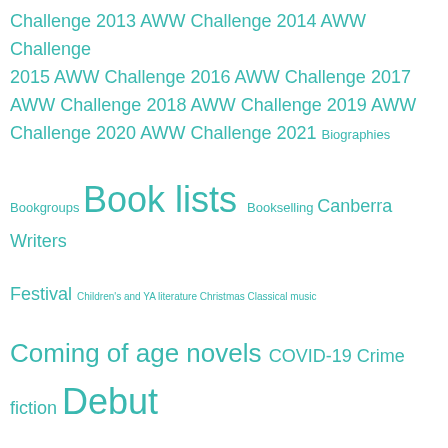Challenge 2013 AWW Challenge 2014 AWW Challenge 2015 AWW Challenge 2016 AWW Challenge 2017 AWW Challenge 2018 AWW Challenge 2019 AWW Challenge 2020 AWW Challenge 2021 Biographies Bookgroups Book lists Bookselling Canberra Writers Festival Children's and YA literature Christmas Classical music Coming of age novels COVID-19 Crime fiction Debut fiction Eco-literature Elizabeth Jolley English writers Eucalypts Farm literature Film adaptations First Nations Australia literature Griffyn Ensemble Gum trees Helen Garner Historical fiction History Holocaust literature Irma Gold Jane Austen Japan Japanese writers Journalists Juvenilia LGBTQIA literature Library of America Meanjin Migrant literature NAIDOC Week National Library of Australia Nature